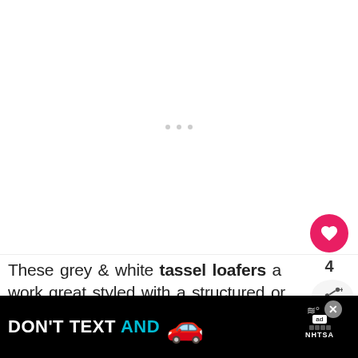[Figure (photo): Large white/blank image area with three small grey loading dots in the center, suggesting an image that has not yet loaded.]
These grey & white tassel loafers a work great styled with a structured or flirty d days' to
[Figure (infographic): Advertisement banner: black background with yellow text 'DON'T TEXT' and cyan text 'AND', a car emoji, an 'ad' badge, an X close button, and 'NHTSA' branding.]